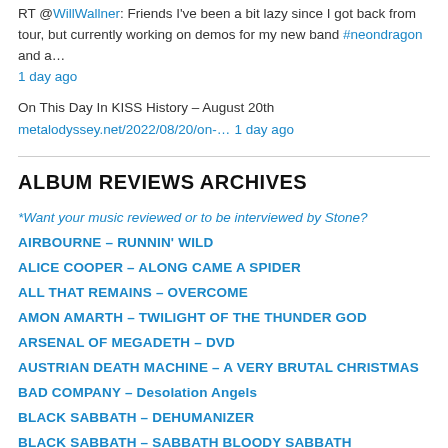RT @WillWallner: Friends I've been a bit lazy since I got back from tour, but currently working on demos for my new band #neondragon and a…
1 day ago
On This Day In KISS History – August 20th
metalodyssey.net/2022/08/20/on-… 1 day ago
ALBUM REVIEWS ARCHIVES
*Want your music reviewed or to be interviewed by Stone?
AIRBOURNE – RUNNIN' WILD
ALICE COOPER – ALONG CAME A SPIDER
ALL THAT REMAINS – OVERCOME
AMON AMARTH – TWILIGHT OF THE THUNDER GOD
ARSENAL OF MEGADETH – DVD
AUSTRIAN DEATH MACHINE – A VERY BRUTAL CHRISTMAS
BAD COMPANY – Desolation Angels
BLACK SABBATH – DEHUMANIZER
BLACK SABBATH – SABBATH BLOODY SABBATH